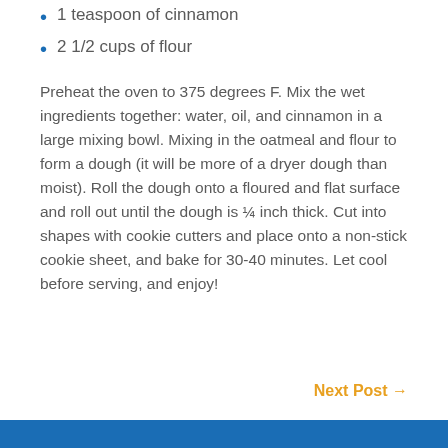1 teaspoon of cinnamon
2 1/2 cups of flour
Preheat the oven to 375 degrees F. Mix the wet ingredients together: water, oil, and cinnamon in a large mixing bowl. Mixing in the oatmeal and flour to form a dough (it will be more of a dryer dough than moist). Roll the dough onto a floured and flat surface and roll out until the dough is ¼ inch thick. Cut into shapes with cookie cutters and place onto a non-stick cookie sheet, and bake for 30-40 minutes. Let cool before serving, and enjoy!
Next Post →